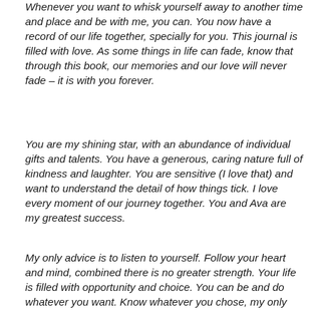Whenever you want to whisk yourself away to another time and place and be with me, you can.  You now have a record of our life together, specially for you.  This journal is filled with love.  As some things in life can fade, know that through this book, our memories and our love will never fade – it is with you forever.
You are my shining star, with an abundance of individual gifts and talents.  You have a generous, caring nature full of kindness and laughter.  You are sensitive (I love that) and want to understand the detail of how things tick.  I love every moment of our journey together.  You and Ava are my greatest success.
My only advice is to listen to yourself.  Follow your heart and mind, combined there is no greater strength.  Your life is filled with opportunity and choice.  You can be and do whatever you want.  Know whatever you chose, my only